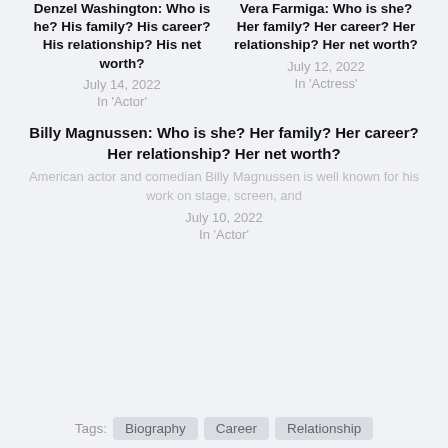Denzel Washington: Who is he? His family? His career? His relationship? His net worth?
July 14, 2022
In 'Actor'
Vera Farmiga: Who is she? Her family? Her career? Her relationship? Her net worth?
July 12, 2022
In 'Actress'
Billy Magnussen: Who is she? Her family? Her career? Her relationship? Her net worth?
American actor and comedian Billy Magnussen is well known for his work on stage, screen, and
July 10, 2022
In 'Actor'
Tags: Biography Career Relationship